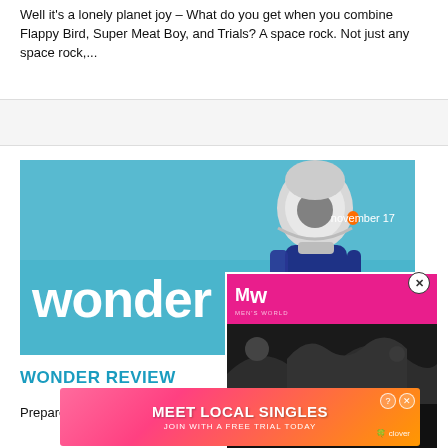Well it's a lonely planet joy – What do you get when you combine Flappy Bird, Super Meat Boy, and Trials? A space rock. Not just any space rock,...
[Figure (photo): Movie promotional poster for 'Wonder' film, showing person in space helmet/suit against blue background with text 'wonder' and 'november 17']
[Figure (screenshot): Video overlay showing MW (Men's World) logo in pink/magenta, play button over dark background, and text 'BEST DRAGON GAMES' with orange/pink subtext]
WONDER REVIEW
Prepare...ks of
[Figure (other): Advertisement banner: 'MEET LOCAL SINGLES' with gradient pink/orange background, woman with heart emojis, 'JOIN WITH A FREE TRIAL TODAY', Clover app logo, close buttons]